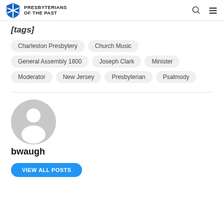Presbyterians of the Past
Charleston Presbytery
Church Music
General Assembly 1800
Joseph Clark
Minister
Moderator
New Jersey
Presbyterian
Psalmody
[Figure (illustration): Generic user avatar placeholder — gray circle with silhouette of a person]
bwaugh
VIEW ALL POSTS